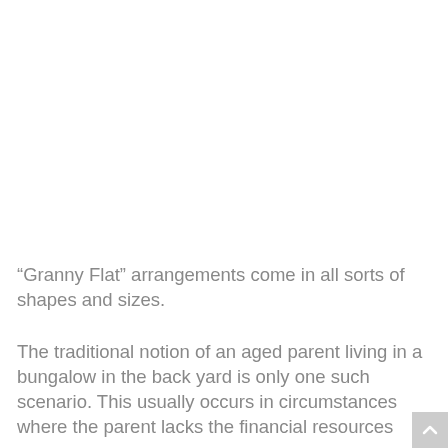“Granny Flat” arrangements come in all sorts of shapes and sizes.
The traditional notion of an aged parent living in a bungalow in the back yard is only one such scenario. This usually occurs in circumstances where the parent lacks the financial resources